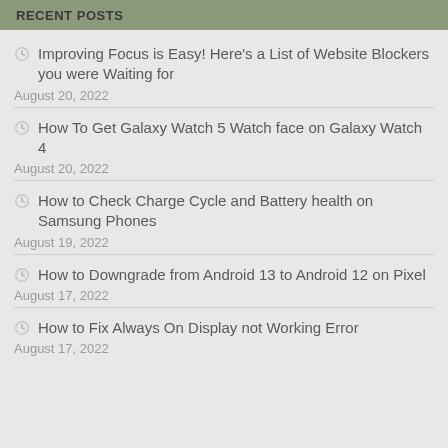RECENT POSTS
Improving Focus is Easy! Here's a List of Website Blockers you were Waiting for
August 20, 2022
How To Get Galaxy Watch 5 Watch face on Galaxy Watch 4
August 20, 2022
How to Check Charge Cycle and Battery health on Samsung Phones
August 19, 2022
How to Downgrade from Android 13 to Android 12 on Pixel
August 17, 2022
How to Fix Always On Display not Working Error
August 17, 2022